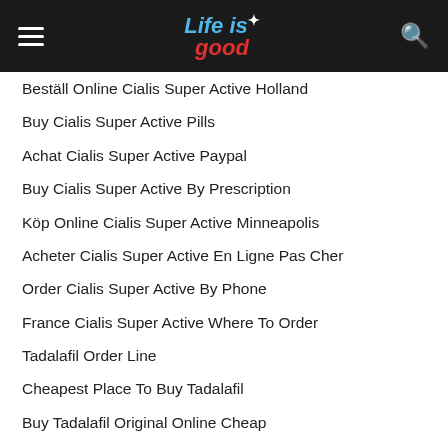Life is good
Beställ Online Cialis Super Active Holland
Buy Cialis Super Active Pills
Achat Cialis Super Active Paypal
Buy Cialis Super Active By Prescription
Köp Online Cialis Super Active Minneapolis
Acheter Cialis Super Active En Ligne Pas Cher
Order Cialis Super Active By Phone
France Cialis Super Active Where To Order
Tadalafil Order Line
Cheapest Place To Buy Tadalafil
Buy Tadalafil Original Online Cheap
Cost Of Cialis Super Active
Costo Del Cialis Super Active In Italia
Cheapest Prices For Cialis Super Active
Where To Order Cheap Cialis Super Active Austria